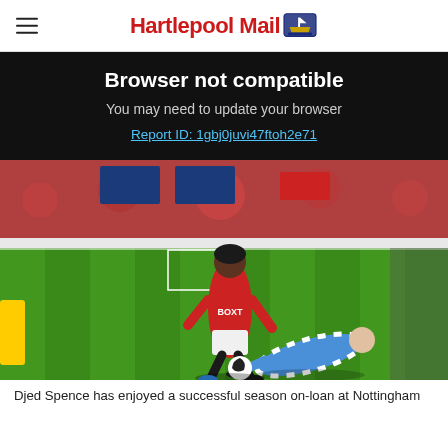Hartlepool Mail
Browser not compatible
You may need to update your browser
Report ID: 1gbj0juvi47ftoh2e71
[Figure (photo): Football match photo showing a Nottingham Forest player in red BOXT jersey dribbling against a sliding Huddersfield Town defender, packed stadium in background]
Djed Spence has enjoyed a successful season on-loan at Nottingham